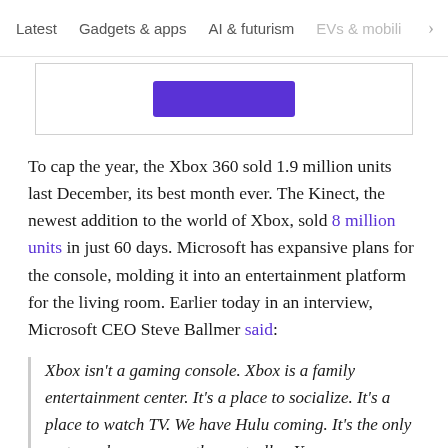Latest   Gadgets & apps   AI & futurism   EVs & mobili >
[Figure (other): Advertisement box with a purple button in the center]
To cap the year, the Xbox 360 sold 1.9 million units last December, its best month ever. The Kinect, the newest addition to the world of Xbox, sold 8 million units in just 60 days. Microsoft has expansive plans for the console, molding it into an entertainment platform for the living room. Earlier today in an interview, Microsoft CEO Steve Ballmer said:
Xbox isn't a gaming console. Xbox is a family entertainment center. It's a place to socialize. It's a place to watch TV. We have Hulu coming. It's the only system where you are the controller. Your